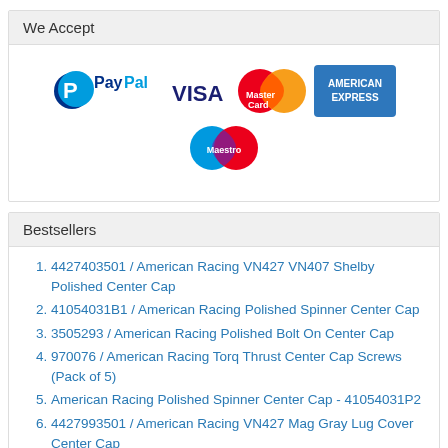We Accept
[Figure (logo): Payment method logos: PayPal, VISA, MasterCard, American Express, Maestro]
Bestsellers
4427403501 / American Racing VN427 VN407 Shelby Polished Center Cap
41054031B1 / American Racing Polished Spinner Center Cap
3505293 / American Racing Polished Bolt On Center Cap
970076 / American Racing Torq Thrust Center Cap Screws (Pack of 5)
American Racing Polished Spinner Center Cap - 41054031P2
4427993501 / American Racing VN427 Mag Gray Lug Cover Center Cap